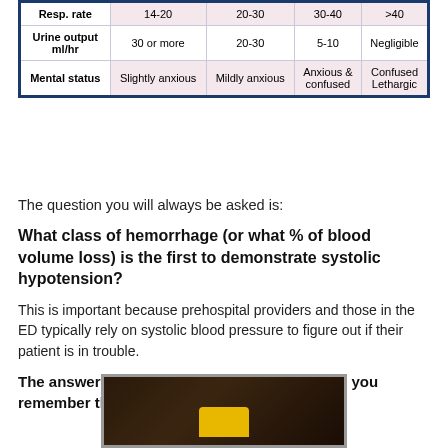|  | Class I | Class II | Class III | Class IV |
| --- | --- | --- | --- | --- |
| Resp. rate | 14-20 | 20-30 | 30-40 | >40 |
| Urine output ml/hr | 30 or more | 20-30 | 5-10 | Negligible |
| Mental status | Slightly anxious | Mildly anxious | Anxious & confused | Confused Lethargic |
The question you will always be asked is:
What class of hemorrhage (or what % of blood volume loss) is the first to demonstrate systolic hypotension?
This is important because prehospital providers and those in the ED typically rely on systolic blood pressure to figure out if their patient is in trouble.
The answer is Class III, or 30-40%. But how do you remember the damn percentages?
[Figure (photo): A dark image showing a yellow cartoon character or object at the bottom, television or monitor frame visible]